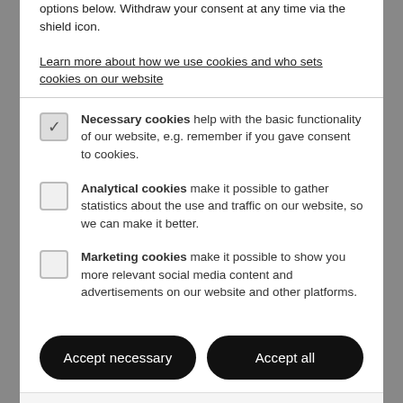options below. Withdraw your consent at any time via the shield icon.
Learn more about how we use cookies and who sets cookies on our website
Necessary cookies help with the basic functionality of our website, e.g. remember if you gave consent to cookies.
Analytical cookies make it possible to gather statistics about the use and traffic on our website, so we can make it better.
Marketing cookies make it possible to show you more relevant social media content and advertisements on our website and other platforms.
Accept necessary | Accept all
Privacy by openli
Manager, Test Engineer, Business Users to